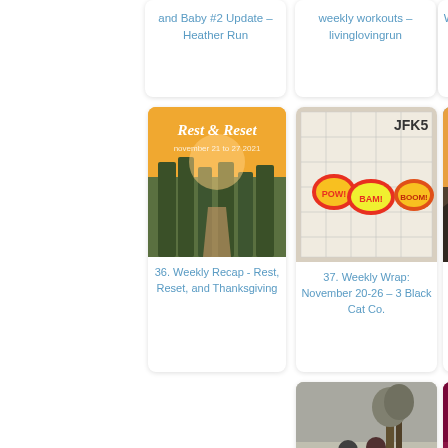and Baby #2 Update – Heather Run
weekly workouts – livinglovingrun
Weekend Wrap-
[Figure (photo): Orange/yellow background with text 'Rest & Reset' and forest path photo below]
36. Weekly Recap - Rest, Reset, and Thanksgiving
[Figure (photo): Calendar with colorful POW/BAM/BOOM sticker labels]
37. Weekly Wrap: November 20-26 – 3 Black Cat Co.
[Figure (photo): Thanksgiving Vacation fitness blog image with sunset/dusk landscape]
38. Thanksgiving Vacation Fitness – Running on Hap…
[Figure (photo): Two women running on a wet sidewalk with autumn trees]
41. CIM Training Week 18 & Weekly Wrap: 11/20-11/26
[Figure (photo): How to Hike Safe During hunting season – dark red/magenta image with archer silhouette]
42. How you can Run Safe During Hunting Season - The…